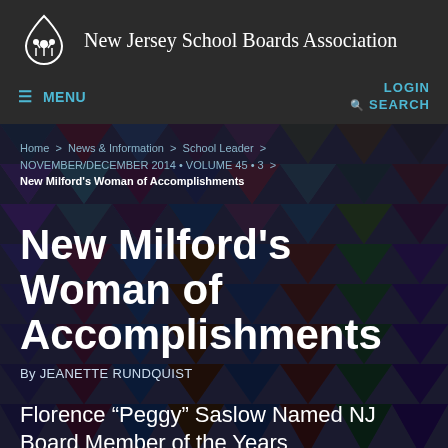New Jersey School Boards Association
MENU
LOGIN  SEARCH
Home > News & Information > School Leader > NOVEMBER/DECEMBER 2014 • VOLUME 45 • 3 > New Milford's Woman of Accomplishments
New Milford’s Woman of Accomplishments
By JEANETTE RUNDQUIST
Florence “Peggy” Saslow Named NJ Board Member of the Years